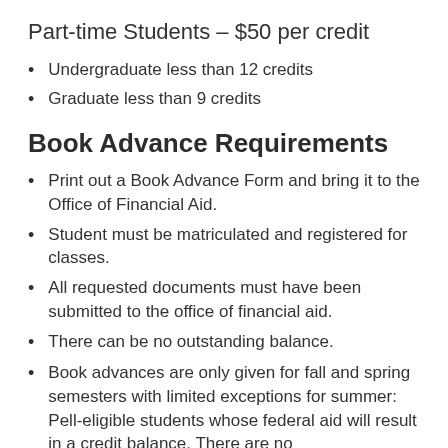Part-time Students - $50 per credit
Undergraduate less than 12 credits
Graduate less than 9 credits
Book Advance Requirements
Print out a Book Advance Form and bring it to the Office of Financial Aid.
Student must be matriculated and registered for classes.
All requested documents must have been submitted to the office of financial aid.
There can be no outstanding balance.
Book advances are only given for fall and spring semesters with limited exceptions for summer: Pell-eligible students whose federal aid will result in a credit balance. There are no